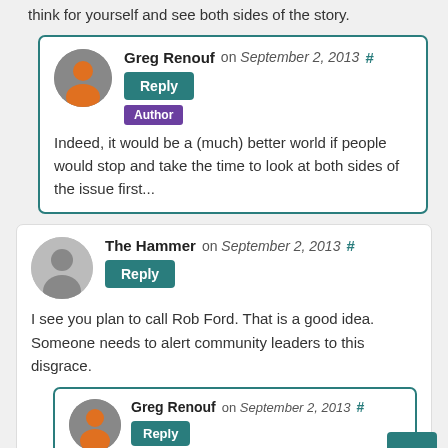think for yourself and see both sides of the story.
Greg Renouf on September 2, 2013 # Reply
Author
Indeed, it would be a (much) better world if people would stop and take the time to look at both sides of the issue first...
The Hammer on September 2, 2013 # Reply
I see you plan to call Rob Ford. That is a good idea. Someone needs to alert community leaders to this disgrace.
Greg Renouf on September 2, 2013 # Reply
Author